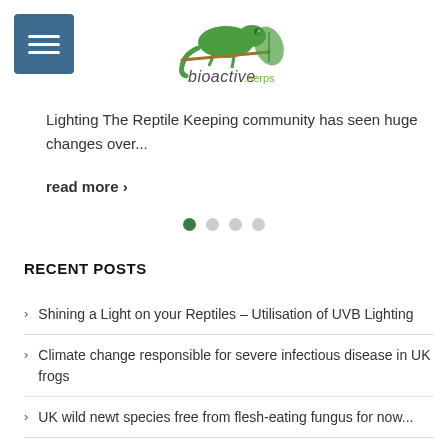bioactive herps – navigation and logo
Lighting The Reptile Keeping community has seen huge changes over...
read more >
[Figure (infographic): Carousel navigation dots: one filled green dot and three grey dots]
RECENT POSTS
Shining a Light on your Reptiles – Utilisation of UVB Lighting
Climate change responsible for severe infectious disease in UK frogs
UK wild newt species free from flesh-eating fungus for now...
Moving Bioactivity Forward
Setting up a Bioactive Enclosure for your Reptile